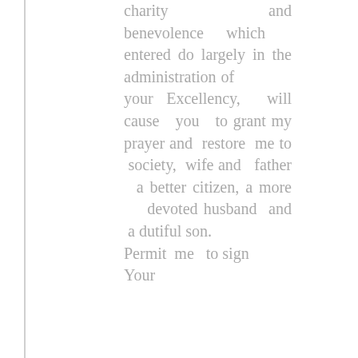charity and benevolence which entered do largely in the administration of your Excellency, will cause you to grant my prayer and restore me to society, wife and father a better citizen, a more devoted husband and a dutiful son. Permit me to sign Your